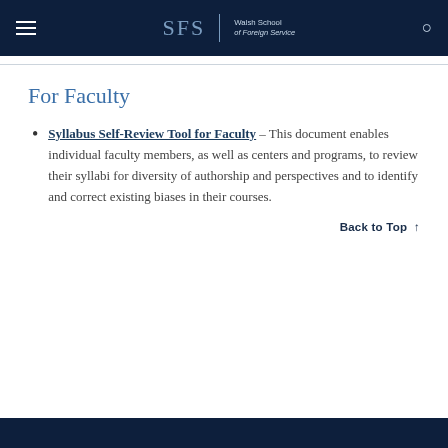SFS | Walsh School of Foreign Service
For Faculty
Syllabus Self-Review Tool for Faculty – This document enables individual faculty members, as well as centers and programs, to review their syllabi for diversity of authorship and perspectives and to identify and correct existing biases in their courses.
Back to Top ↑